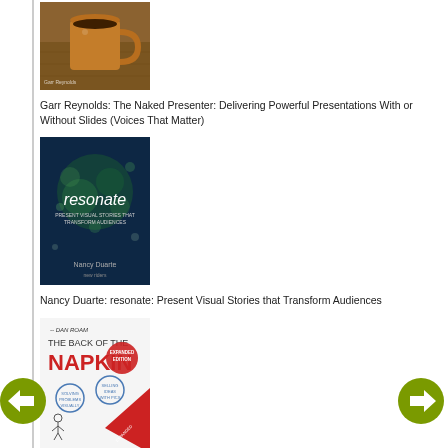[Figure (photo): Book cover: The Naked Presenter by Garr Reynolds - coffee cup on wooden table]
Garr Reynolds: The Naked Presenter: Delivering Powerful Presentations With or Without Slides (Voices That Matter)
[Figure (photo): Book cover: resonate by Nancy Duarte - dark blue background with bokeh lights]
Nancy Duarte: resonate: Present Visual Stories that Transform Audiences
[Figure (photo): Book cover: The Back of the Napkin (Expanded Edition) by Dan Roam]
Dan Roam: The Back of the Napkin (Expanded Edition): Solving Problems and Selling Ideas with Pictures
[Figure (photo): Partial book cover: The Presentation Secrets of...]